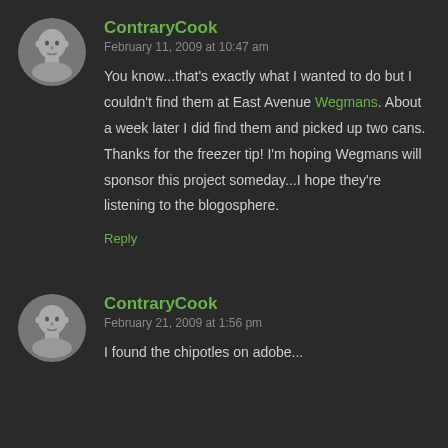[Figure (photo): Black and white circular avatar photo of a bald man]
ContraryCook
February 11, 2009 at 10:47 am
You know...that's exactly what I wanted to do but I couldn't find them at East Avenue Wegmans. About a week later I did find them and picked up two cans. Thanks for the freezer tip! I'm hoping Wegmans will sponsor this project someday...I hope they're listening to the blogosphere.
Reply
[Figure (photo): Black and white circular avatar photo of a bald man]
ContraryCook
February 21, 2009 at 1:56 pm
I found the chipotles on adobe...